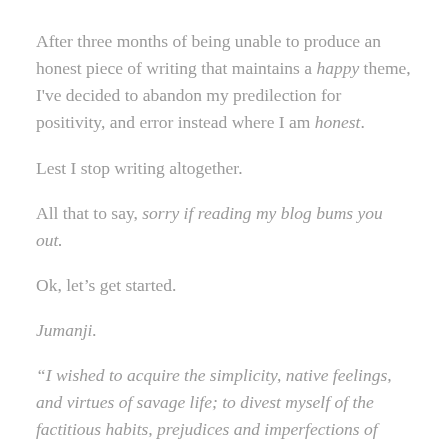After three months of being unable to produce an honest piece of writing that maintains a happy theme, I've decided to abandon my predilection for positivity, and error instead where I am honest.
Lest I stop writing altogether.
All that to say, sorry if reading my blog bums you out.
Ok, let's get started.
Jumanji.
“I wished to acquire the simplicity, native feelings, and virtues of savage life; to divest myself of the factitious habits, prejudices and imperfections of civilization;... and to find, amidst the solitude and grandeur of the western